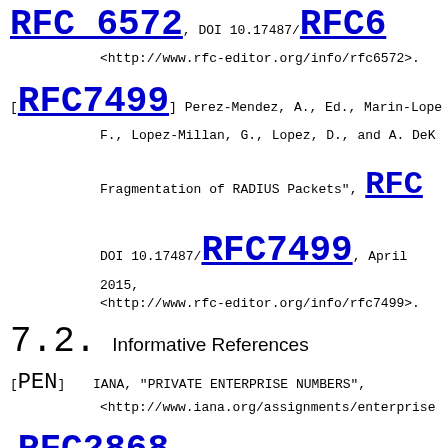[RFC6572] ... DOI 10.17487/RFC6572. <http://www.rfc-editor.org/info/rfc6572>.
[RFC7499] Perez-Mendez, A., Ed., Marin-Lopez, F., Lopez-Millan, G., Lopez, D., and A. DeKok, Fragmentation of RADIUS Packets", RFC 7499, DOI 10.17487/RFC7499, April 2015, <http://www.rfc-editor.org/info/rfc7499>.
7.2. Informative References
[PEN] IANA, "PRIVATE ENTERPRISE NUMBERS", <http://www.iana.org/assignments/enterprise>.
[RFC2868] Zorn, G., Leifer, D., Rubens, A., M., and I. Goyret, "RADIUS Attributes for Tunnel Support", RFC 2868, DOI 10.17487/RFC2868, <http://www.rfc-editor.org/info/rfc2868>.